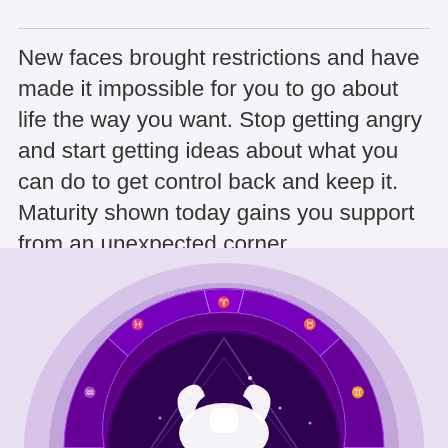New faces brought restrictions and have made it impossible for you to go about life the way you want. Stop getting angry and start getting ideas about what you can do to get control back and keep it. Maturity shown today gains you support from an unexpected corner.
[Figure (illustration): A purple zodiac wheel with astrological signs around the outer ring, featuring a white Aries ram symbol in the center against a deep purple background with geometric shapes and stars.]